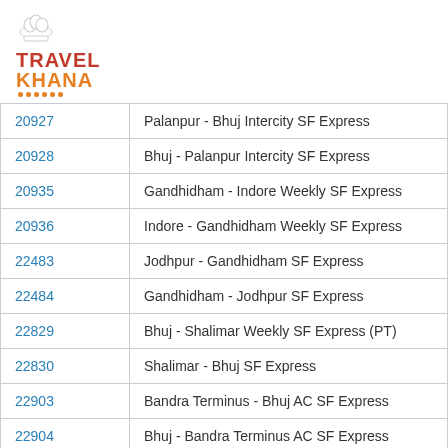[Figure (logo): TravelKhana logo with chef hat icon, red and orange text]
| 20927 | Palanpur - Bhuj Intercity SF Express |
| 20928 | Bhuj - Palanpur Intercity SF Express |
| 20935 | Gandhidham - Indore Weekly SF Express |
| 20936 | Indore - Gandhidham Weekly SF Express |
| 22483 | Jodhpur - Gandhidham SF Express |
| 22484 | Gandhidham - Jodhpur SF Express |
| 22829 | Bhuj - Shalimar Weekly SF Express (PT) |
| 22830 | Shalimar - Bhuj SF Express |
| 22903 | Bandra Terminus - Bhuj AC SF Express |
| 22904 | Bhuj - Bandra Terminus AC SF Express |